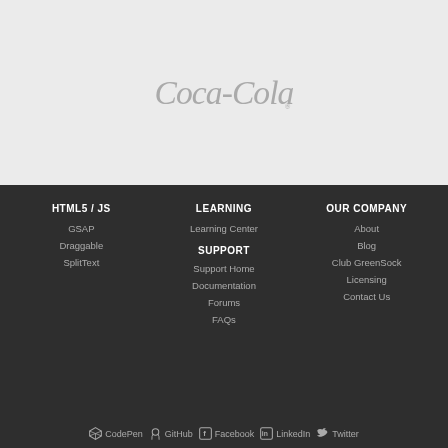[Figure (logo): Coca-Cola script logo in gray on light gray background]
HTML5 / JS
GSAP
Draggable
SplitText
LEARNING
Learning Center
SUPPORT
Support Home
Documentation
Forums
FAQs
OUR COMPANY
About
Blog
Club GreenSock
Licensing
Contact Us
CodePen  GitHub  Facebook  LinkedIn  Twitter